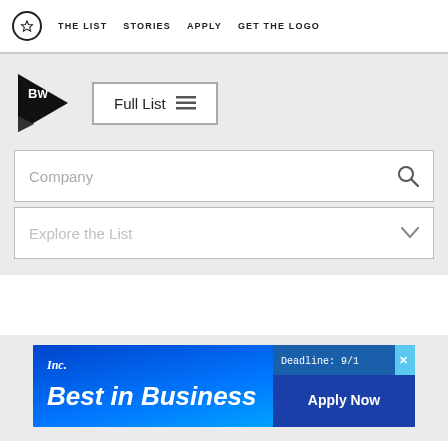THE LIST   STORIES   APPLY   GET THE LOGO
[Figure (logo): BW (Best Workplaces) logo: black pennant shape with BW text in white]
Full List
Company
Explore the List
[Figure (illustration): Inc. Best in Business advertisement banner with blue gradient background. Text: Inc. Best in Business. Deadline: 9/1. Apply Now button.]